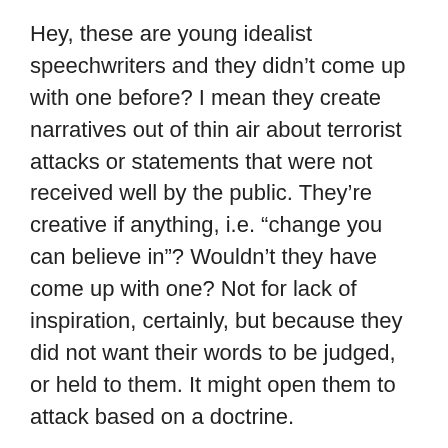Hey, these are young idealist speechwriters and they didn't come up with one before? I mean they create narratives out of thin air about terrorist attacks or statements that were not received well by the public. They're creative if anything, i.e. “change you can believe in”? Wouldn’t they have come up with one? Not for lack of inspiration, certainly, but because they did not want their words to be judged, or held to them. It might open them to attack based on a doctrine.
I wonder why they see fit to put forth one now? Why so simplistic, you could even call it dumb? As many times as they repeat it, there must be reason. I have some theories. Is it the go to excuse when asked about a failure to act, or failure to react — that they don’t want to do “stupid stuff”? (something you’ll regret) It’s a catch-all answer to “why